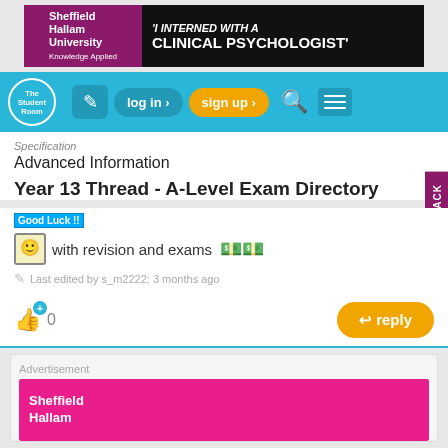[Figure (illustration): Sheffield Hallam University banner ad: 'I INTERNED WITH A CLINICAL PSYCHOLOGIST']
[Figure (screenshot): The Student Room navigation bar with log in and sign up buttons]
Specification
Advanced Information
Year 13 Thread - A-Level Exam Directory
Good Luck !! with revision and exams
Last edited by s_m2222; 3 months ago
0
reply
Advertisement
[Figure (illustration): Sheffield Hallam University advertisement banner with pink background and person photo]